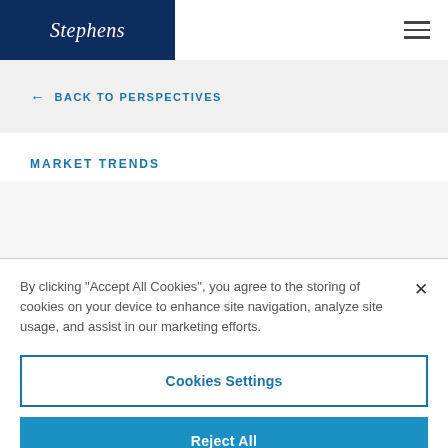Stephens
← BACK TO PERSPECTIVES
MARKET TRENDS
By clicking "Accept All Cookies", you agree to the storing of cookies on your device to enhance site navigation, analyze site usage, and assist in our marketing efforts.
Cookies Settings
Reject All